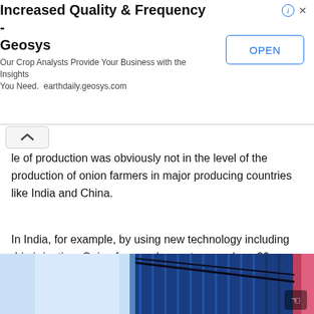[Figure (screenshot): Advertisement banner for Geosys crop analytics service with title 'Increased Quality & Frequency - Geosys', subtitle 'Our Crop Analysts Provide Your Business with the Insights You Need. earthdaily.geosys.com', and an OPEN button on the right.]
le of production was obviously not in the level of the production of onion farmers in major producing countries like India and China.
In India, for example, by using new technology including drip irrigation, Onion farmers harvest as much as 20 metric tons per hectare.
In the Philippines, the average yield per hectare is only 12.5-metric tons.
[Figure (photo): Partial photo at bottom of page showing blue industrial or warehouse structure with corrugated metal roofing, blue sky, and slight pink/red accent on the right side.]